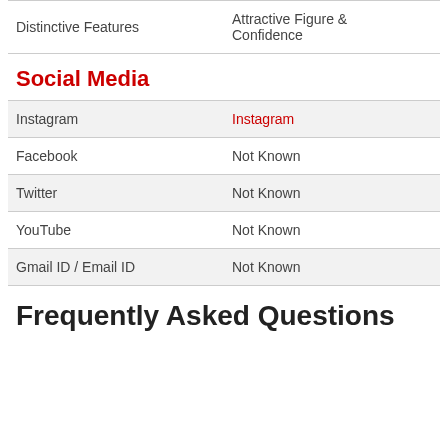|  |  |
| --- | --- |
| Distinctive Features | Attractive Figure & Confidence |
Social Media
|  |  |
| --- | --- |
| Instagram | Instagram |
| Facebook | Not Known |
| Twitter | Not Known |
| YouTube | Not Known |
| Gmail ID / Email ID | Not Known |
Frequently Asked Questions